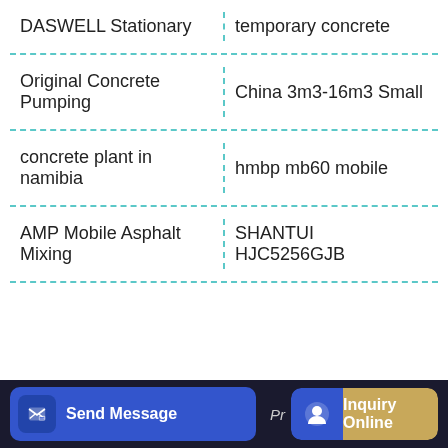| DASWELL Stationary | temporary concrete |
| Original Concrete Pumping | China 3m3-16m3 Small |
| concrete plant in namibia | hmbp mb60 mobile |
| AMP Mobile Asphalt Mixing | SHANTUI HJC5256GJB |
Send Message  Pr  Inquiry Online